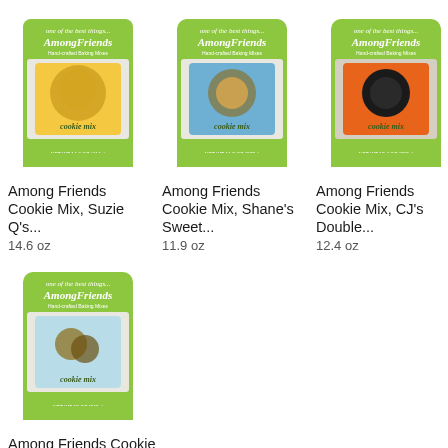[Figure (photo): Among Friends Cookie Mix, Suzie Q's product bag with green packaging and yellow label showing a squirrel]
Among Friends Cookie Mix, Suzie Q's...
14.6 oz
[Figure (photo): Among Friends Cookie Mix, Shane's Sweet product bag with green packaging and blue label]
Among Friends Cookie Mix, Shane's Sweet...
11.9 oz
[Figure (photo): Among Friends Cookie Mix, CJ's Double product bag with green packaging and orange label with dark cookie]
Among Friends Cookie Mix, CJ's Double...
12.4 oz
[Figure (photo): Among Friends Cookie Mix, Evan's Heaven product bag with green packaging and blue label with cookies]
Among Friends Cookie Mix, Evan's Heaven...